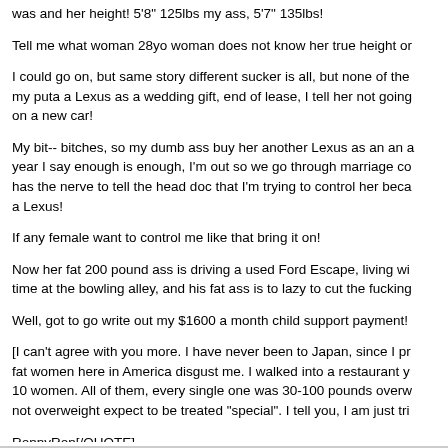was and her height! 5'8" 125lbs my ass, 5'7" 135lbs!
Tell me what woman 28yo woman does not know her true height or
I could go on, but same story different sucker is all, but none of the my puta a Lexus as a wedding gift, end of lease, I tell her not going on a new car!
My bit-- bitches, so my dumb ass buy her another Lexus as an an a year I say enough is enough, I'm out so we go through marriage co has the nerve to tell the head doc that I'm trying to control her beca a Lexus!
If any female want to control me like that bring it on!
Now her fat 200 pound ass is driving a used Ford Escape, living wi time at the bowling alley, and his fat ass is to lazy to cut the fucking
Well, got to go write out my $1600 a month child support payment!
[I can't agree with you more. I have never been to Japan, since I pr fat women here in America disgust me. I walked into a restaurant y 10 women. All of them, every single one was 30-100 pounds overw not overweight expect to be treated "special". I tell you, I am just tri
RonnyRon[/QUOTE]